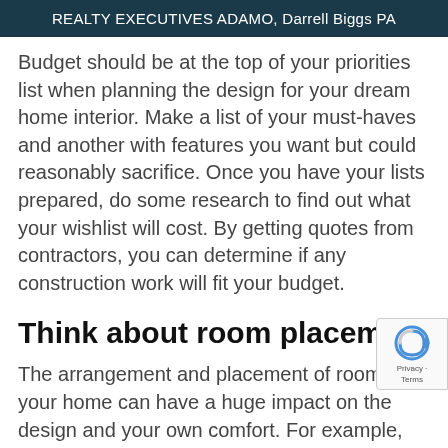REALTY EXECUTIVES ADAMO, Darrell Biggs PA
Budget should be at the top of your priorities list when planning the design for your dream home interior. Make a list of your must-haves and another with features you want but could reasonably sacrifice. Once you have your lists prepared, do some research to find out what your wishlist will cost. By getting quotes from contractors, you can determine if any construction work will fit your budget.
Think about room placement
The arrangement and placement of rooms in your home can have a huge impact on the design and your own comfort. For example,